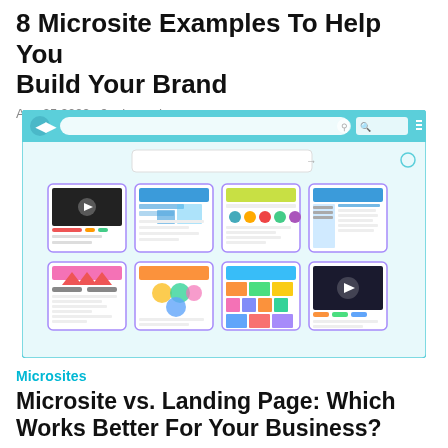8 Microsite Examples To Help You Build Your Brand
Aug 25 2022 · 9 min read
[Figure (screenshot): Browser window mockup showing a grid of 8 colorful website thumbnail previews arranged in 2 rows of 4, with a teal browser chrome bar at top and a search box below it.]
Microsites
Microsite vs. Landing Page: Which Works Better For Your Business?